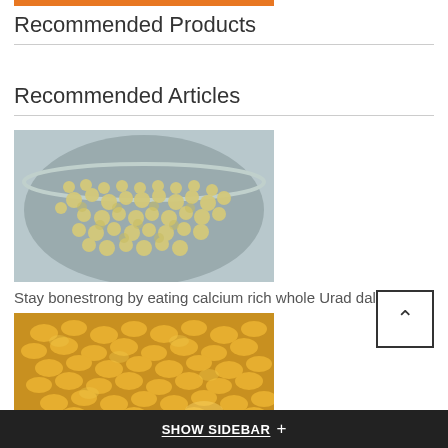Recommended Products
Recommended Articles
[Figure (photo): Close-up photo of whole urad dal (white/cream colored lentils) in a glass bowl on a light blue background]
Stay bonestrong by eating calcium rich whole Urad dal
[Figure (photo): Close-up photo of yellow split lentils (chana dal or similar yellow dal) spread out, showing texture and color]
SHOW SIDEBAR +